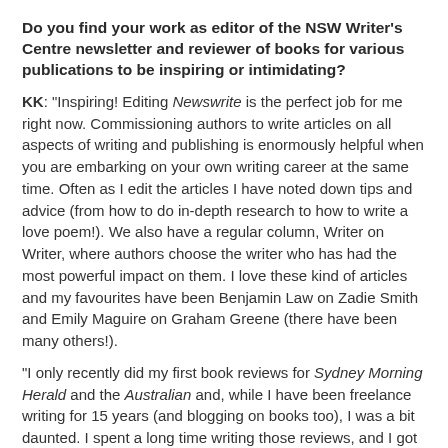Do you find your work as editor of the NSW Writer's Centre newsletter and reviewer of books for various publications to be inspiring or intimidating? KK: "Inspiring! Editing Newswrite is the perfect job for me right now. Commissioning authors to write articles on all aspects of writing and publishing is enormously helpful when you are embarking on your own writing career at the same time. Often as I edit the articles I have noted down tips and advice (from how to do in-depth research to how to write a love poem!). We also have a regular column, Writer on Writer, where authors choose the writer who has had the most powerful impact on them. I love these kind of articles and my favourites have been Benjamin Law on Zadie Smith and Emily Maguire on Graham Greene (there have been many others!).
"I only recently did my first book reviews for Sydney Morning Herald and the Australian and, while I have been freelance writing for 15 years (and blogging on books too), I was a bit daunted. I spent a long time writing those reviews, and I got someone to double check the tone. But it's such a rush to